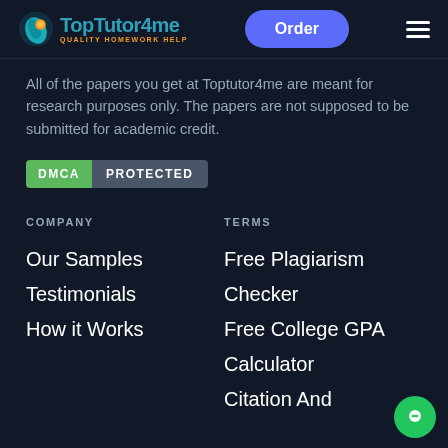TopTutor4me — QUALITY HOMEWORK HELP | Order
All of the papers you get at Toptutor4me are meant for research purposes only. The papers are not supposed to be submitted for academic credit.
[Figure (logo): DMCA PROTECTED badge]
COMPANY
Our Samples
Testimonials
How it Works
TERMS
Free Plagiarism
Checker
Free College GPA
Calculator
Citation And